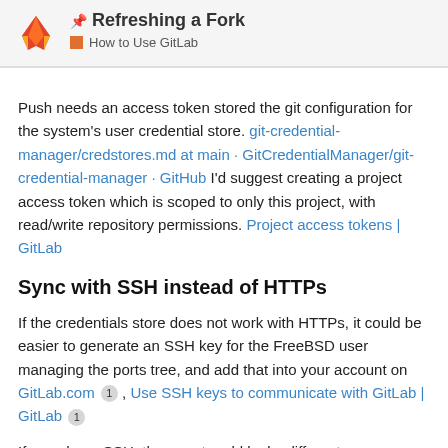📌 Refreshing a Fork — How to Use GitLab
Push needs an access token stored the git configuration for the system's user credential store. git-credential-manager/credstores.md at main · GitCredentialManager/git-credential-manager · GitHub I'd suggest creating a project access token which is scoped to only this project, with read/write repository permissions. Project access tokens | GitLab
Sync with SSH instead of HTTPs
If the credentials store does not work with HTTPs, it could be easier to generate an SSH key for the FreeBSD user managing the ports tree, and add that into your account on GitLab.com 1 , Use SSH keys to communicate with GitLab | GitLab 1
If you chose SSH, the remote add looks different:
git remote add glmirror git@gitlab.com:grahampe